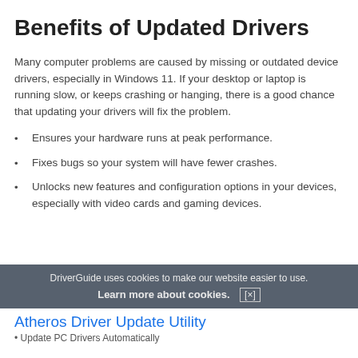Benefits of Updated Drivers
Many computer problems are caused by missing or outdated device drivers, especially in Windows 11. If your desktop or laptop is running slow, or keeps crashing or hanging, there is a good chance that updating your drivers will fix the problem.
Ensures your hardware runs at peak performance.
Fixes bugs so your system will have fewer crashes.
Unlocks new features and configuration options in your devices, especially with video cards and gaming devices.
DriverGuide uses cookies to make our website easier to use.
Learn more about cookies. [×]
Atheros Driver Update Utility
Update PC Drivers Automatically